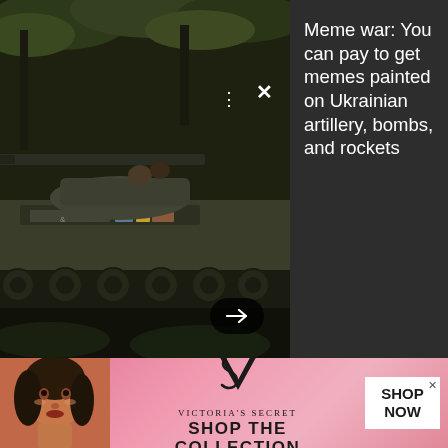[Figure (photo): A military tank (Ukrainian artillery vehicle) photographed outdoors among trees, shown from the side with a long gun barrel extending left, wheels/tracks visible, soldiers partially visible on top. Dark olive/gray coloring, stickers on side.]
Meme war: You can pay to get memes painted on Ukrainian artillery, bombs, and rockets
[Figure (photo): Advertisement banner: Victoria's Secret ad showing a model with curly hair on the left, VS logo in the center, text 'SHOP THE COLLECTION' in bold, and a white button reading 'SHOP NOW'.]